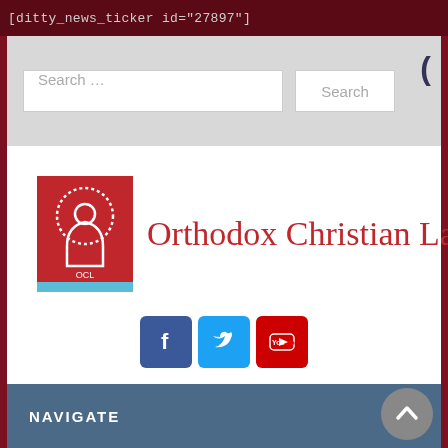[ditty_news_ticker id="27897"]
[Figure (screenshot): Search bar with text input field labeled 'Search ...' and a Search button on a light gray background]
[Figure (logo): Orthodox Christian Laity logo: red square icon with arch/person motif on left, red serif text 'Orthodox Christian Laity' on right]
[Figure (infographic): Three social media icons: Facebook (dark blue), Twitter (light blue), YouTube (red)]
NAVIGATE
Report of the OCL Executive Director for the Quarterly